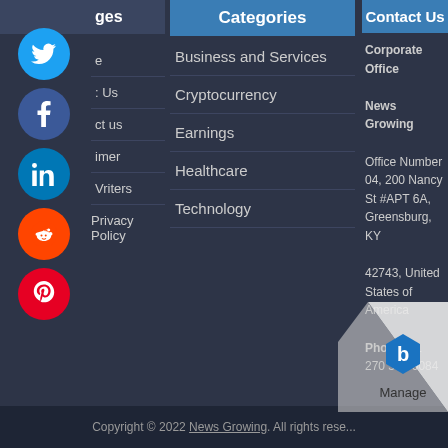[Figure (other): Social media icons: Twitter (blue circle), Facebook (dark blue circle), LinkedIn (blue circle), Reddit (orange circle), Pinterest (red circle)]
Contact Us
Contact us
Disclaimer
Writers
Privacy Policy
Categories
Business and Services
Cryptocurrency
Earnings
Healthcare
Technology
Contact Us
Corporate Office
News Growing
Office Number 04, 200 Nancy St #APT 6A, Greensburg, KY
42743, United States of America
Phone: +1 270 592 0084
Copyright © 2022 News Growing. All rights reserved.
[Figure (logo): Manage logo badge with page curl effect in bottom right corner]